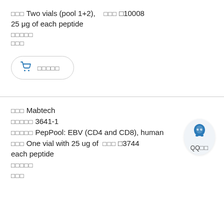□□□ Two vials (pool 1+2),    □□□ □10008
25 μg of each peptide
□□□□□
□□□
[Figure (other): Shopping cart button with garbled label text]
□□□ Mabtech
□□□□□ 3641-1
□□□□□ PepPool: EBV (CD4 and CD8), human
□□□ One vial with 25 ug of   □□□ □3744
each peptide
□□□□□
□□□
[Figure (other): QQ chat icon bubble with label QQ□□]